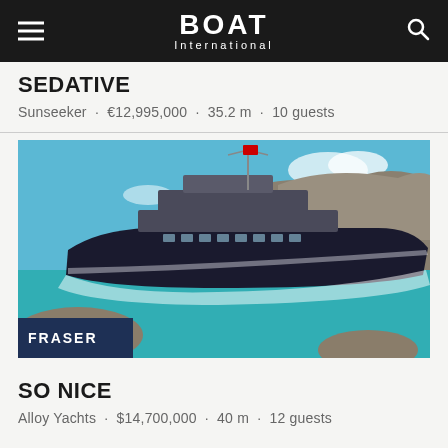BOAT International
SEDATIVE
Sunseeker · €12,995,000 · 35.2 m · 10 guests
[Figure (photo): Large luxury motor yacht SO NICE underway near rocky coastline with clear turquoise water and blue sky. FRASER broker badge overlay in bottom left corner.]
SO NICE
Alloy Yachts · $14,700,000 · 40 m · 12 guests